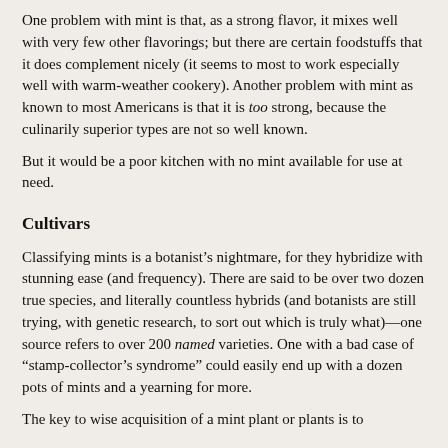One problem with mint is that, as a strong flavor, it mixes well with very few other flavorings; but there are certain foodstuffs that it does complement nicely (it seems to most to work especially well with warm-weather cookery). Another problem with mint as known to most Americans is that it is too strong, because the culinarily superior types are not so well known.
But it would be a poor kitchen with no mint available for use at need.
Cultivars
Classifying mints is a botanist’s nightmare, for they hybridize with stunning ease (and frequency). There are said to be over two dozen true species, and literally countless hybrids (and botanists are still trying, with genetic research, to sort out which is truly what)—one source refers to over 200 named varieties. One with a bad case of “stamp-collector’s syndrome” could easily end up with a dozen pots of mints and a yearning for more.
The key to wise acquisition of a mint plant or plants is to